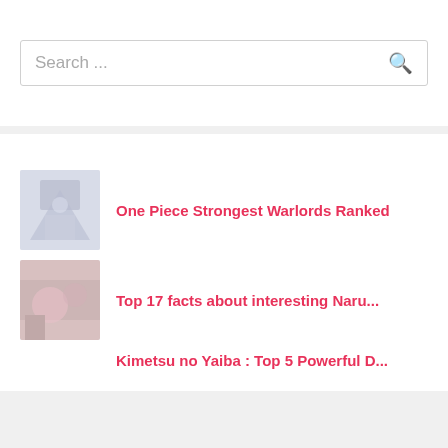Search ...
One Piece Strongest Warlords Ranked
Top 17 facts about interesting Naru...
Kimetsu no Yaiba : Top 5 Powerful D...